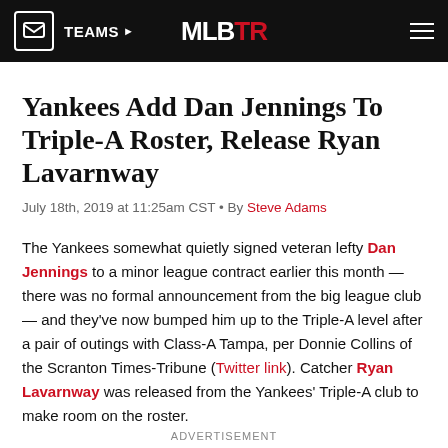TEAMS | MLBTR | (menu)
Yankees Add Dan Jennings To Triple-A Roster, Release Ryan Lavarnway
July 18th, 2019 at 11:25am CST • By Steve Adams
The Yankees somewhat quietly signed veteran lefty Dan Jennings to a minor league contract earlier this month — there was no formal announcement from the big league club — and they've now bumped him up to the Triple-A level after a pair of outings with Class-A Tampa, per Donnie Collins of the Scranton Times-Tribune (Twitter link). Catcher Ryan Lavarnway was released from the Yankees' Triple-A club to make room on the roster.
ADVERTISEMENT